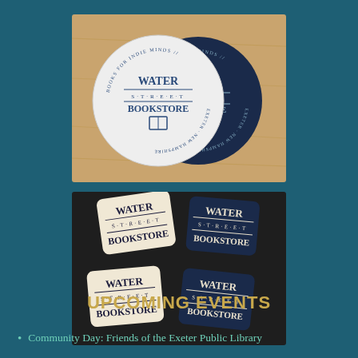[Figure (photo): Two circular stickers for Water Street Bookstore — one white/light and one dark navy — overlapping on a wooden surface. Text reads 'Books for Indie Minds // Water S·T·R·E·E·T Bookstore // Exeter, New Hampshire']
[Figure (photo): Multiple rectangular Water Street Bookstore stickers scattered on a dark surface, alternating between cream/white and dark navy colorways. Each reads 'WATER S·T·R·E·E·T BOOKSTORE']
UPCOMING EVENTS
Community Day: Friends of the Exeter Public Library